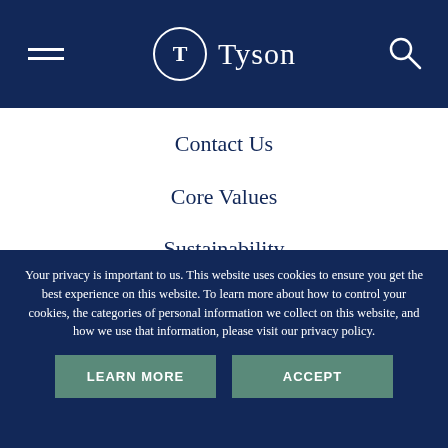[Figure (logo): Tyson Foods logo with hamburger menu on left and search icon on right, white on dark navy blue header]
Contact Us
Core Values
Sustainability
About Us
Your privacy is important to us. This website uses cookies to ensure you get the best experience on this website. To learn more about how to control your cookies, the categories of personal information we collect on this website, and how we use that information, please visit our privacy policy.
LEARN MORE
ACCEPT